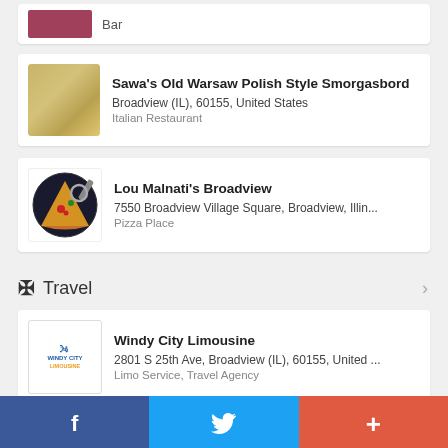[Figure (other): Partial restaurant listing card showing a food image thumbnail and category text 'Bar']
[Figure (other): Listing card for Sawa's Old Warsaw Polish Style Smorgasbord with food photo thumbnail]
Sawa's Old Warsaw Polish Style Smorgasbord
Broadview (IL), 60155, United States
Italian Restaurant
[Figure (other): Listing card for Lou Malnati's Broadview with pizza logo thumbnail]
Lou Malnati's Broadview
7550 Broadview Village Square, Broadview, Illin...
Pizza Place
Travel
[Figure (other): Listing card for Windy City Limousine with company logo thumbnail]
Windy City Limousine
2801 S 25th Ave, Broadview (IL), 60155, United ...
Limo Service, Travel Agency
f  (Twitter bird icon)  +